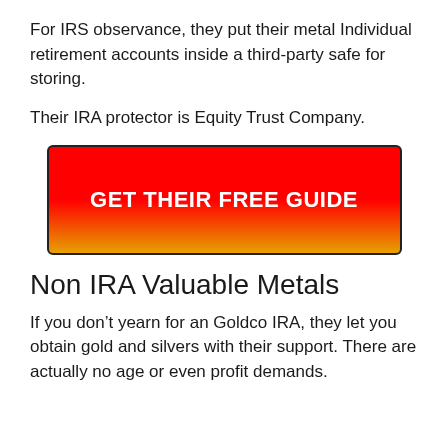For IRS observance, they put their metal Individual retirement accounts inside a third-party safe for storing.
Their IRA protector is Equity Trust Company.
[Figure (other): Red and gold gradient button with bold white text reading GET THEIR FREE GUIDE]
Non IRA Valuable Metals
If you don’t yearn for an Goldco IRA, they let you obtain gold and silvers with their support. There are actually no age or even profit demands.